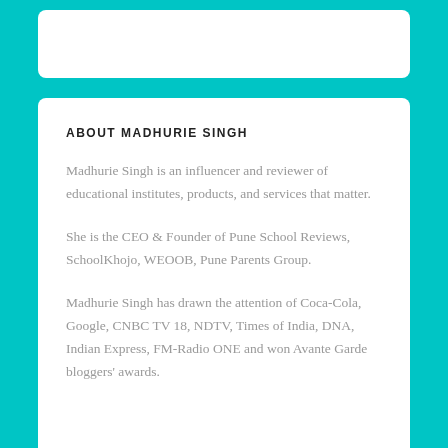ABOUT MADHURIE SINGH
Madhurie Singh is an influencer and reviewer of educational institutes, products, and services that matter.
She is the CEO & Founder of Pune School Reviews, SchoolKhojo, WEOOB, Pune Parents Group.
Madhurie Singh has drawn the attention of Coca-Cola, Google, CNBC TV 18, NDTV, Times of India, DNA, Indian Express, FM-Radio ONE and won Avante Garde bloggers' awards.